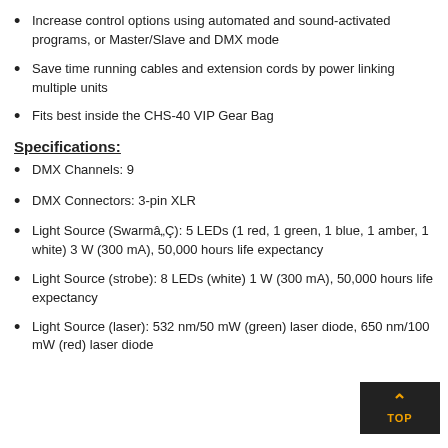Increase control options using automated and sound-activated programs, or Master/Slave and DMX mode
Save time running cables and extension cords by power linking multiple units
Fits best inside the CHS-40 VIP Gear Bag
Specifications:
DMX Channels: 9
DMX Connectors: 3-pin XLR
Light Source (Swarmâ„¢): 5 LEDs (1 red, 1 green, 1 blue, 1 amber, 1 white) 3 W (300 mA), 50,000 hours life expectancy
Light Source (strobe): 8 LEDs (white) 1 W (300 mA), 50,000 hours life expectancy
Light Source (laser): 532 nm/50 mW (green) laser diode, 650 nm/100 mW (red) laser diode